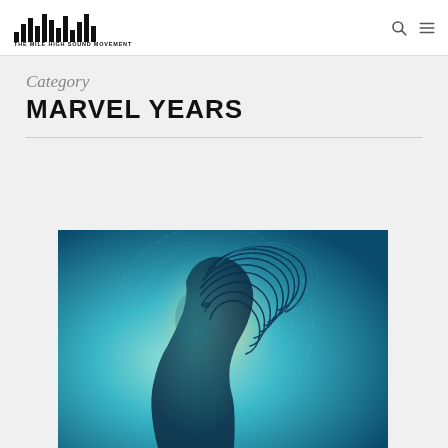THE MILE HIGH SOUND MOVEMENT
Category
MARVEL YEARS
[Figure (illustration): Stylized digital artwork of a female profile/silhouette with glowing blue-teal light and flowing wire/cable strands forming hair, set against a teal background with circular design elements.]